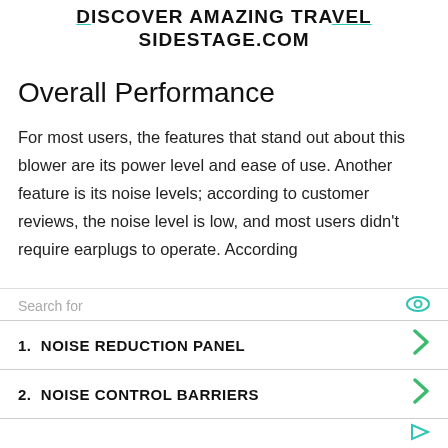DISCOVER AMAZING TRAVEL SIDESTAGE.COM
Overall Performance
For most users, the features that stand out about this blower are its power level and ease of use. Another feature is its noise levels; according to customer reviews, the noise level is low, and most users didn't require earplugs to operate. According
[Figure (other): Advertisement block with search label, eye icon, two items: 1. NOISE REDUCTION PANEL and 2. NOISE CONTROL BARRIERS, each with a green arrow, and a forward icon at the bottom right.]